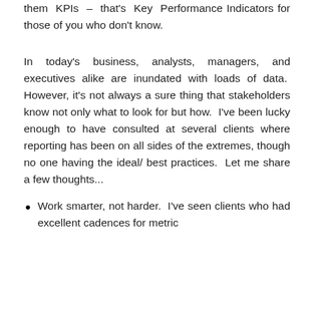them KPIs – that's Key Performance Indicators for those of you who don't know.
In today's business, analysts, managers, and executives alike are inundated with loads of data. However, it's not always a sure thing that stakeholders know not only what to look for but how. I've been lucky enough to have consulted at several clients where reporting has been on all sides of the extremes, though no one having the ideal/ best practices. Let me share a few thoughts...
Work smarter, not harder. I've seen clients who had excellent cadences for metric